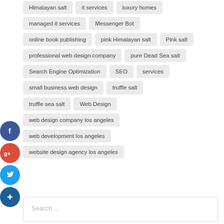Himalayan salt
it services
luxury homes
managed it services
Messenger Bot
online book publishing
pink Himalayan salt
Pink salt
professional web design company
pure Dead Sea salt
Search Engine Optimization
SEO
services
small business web design
truffle salt
truffle sea salt
Web Design
web design company los angeles
web development los angeles
website design agency los angeles
[Figure (infographic): Social media share icons: Facebook (blue circle with f), Google+ (red circle with g+), Twitter (blue circle with bird), and a blue plus circle for more sharing options.]
Search ...